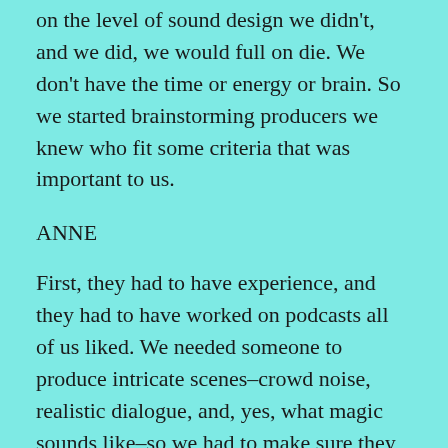on the level of sound design we didn't, and we did, we would full on die. We don't have the time or energy or brain. So we started brainstorming producers we knew who fit some criteria that was important to us.
ANNE
First, they had to have experience, and they had to have worked on podcasts all of us liked. We needed someone to produce intricate scenes–crowd noise, realistic dialogue, and, yes, what magic sounds like–so we had to make sure they had the skills to figure that out. Or to tell us when we were absolutely bonkers and needed to dial things back.
WIL
Second, they had to be someone we could actually